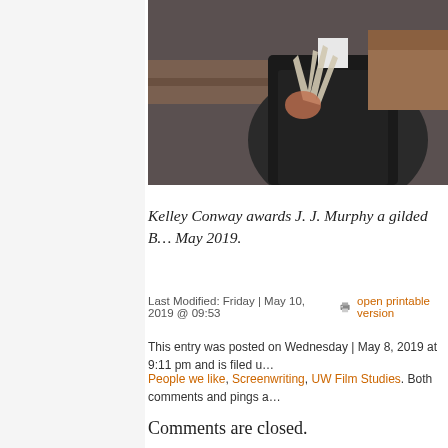[Figure (photo): Photograph of a person in a dark suit and blue tie, with an arm raised, appearing to receive or hold an award. Wooden shelving visible in background.]
Kelley Conway awards J. J. Murphy a gilded B… May 2019.
Last Modified: Friday | May 10, 2019 @ 09:53   open printable version
This entry was posted on Wednesday | May 8, 2019 at 9:11 pm and is filed u…
People we like, Screenwriting, UW Film Studies. Both comments and pings a…
Comments are closed.